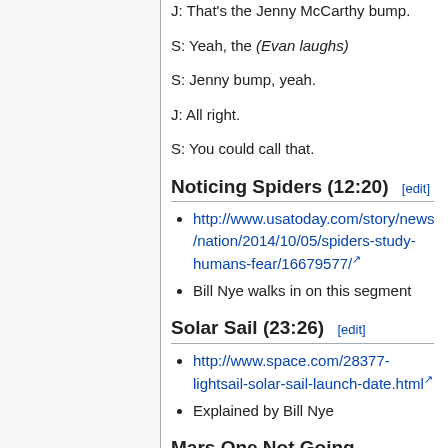J: That's the Jenny McCarthy bump.
S: Yeah, the (Evan laughs)
S: Jenny bump, yeah.
J: All right.
S: You could call that.
Noticing Spiders (12:20) [edit]
http://www.usatoday.com/story/news/nation/2014/10/05/spiders-study-humans-fear/16679577/
Bill Nye walks in on this segment
Solar Sail (23:26) [edit]
http://www.space.com/28377-lightsail-solar-sail-launch-date.html
Explained by Bill Nye
Mars One Not Going Anywhere (30:53) [edit]